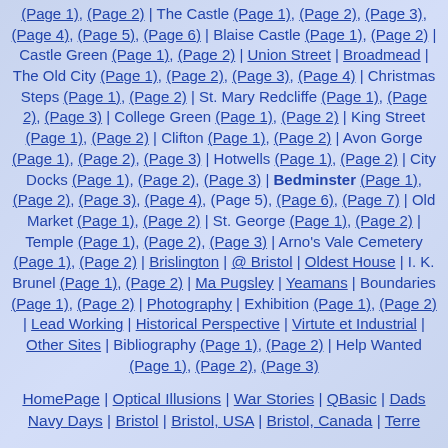(Page 1), (Page 2) | The Castle (Page 1), (Page 2), (Page 3), (Page 4), (Page 5), (Page 6) | Blaise Castle (Page 1), (Page 2) | Castle Green (Page 1), (Page 2) | Union Street | Broadmead | The Old City (Page 1), (Page 2), (Page 3), (Page 4) | Christmas Steps (Page 1), (Page 2) | St. Mary Redcliffe (Page 1), (Page 2), (Page 3) | College Green (Page 1), (Page 2) | King Street (Page 1), (Page 2) | Clifton (Page 1), (Page 2) | Avon Gorge (Page 1), (Page 2), (Page 3) | Hotwells (Page 1), (Page 2) | City Docks (Page 1), (Page 2), (Page 3) | Bedminster (Page 1), (Page 2), (Page 3), (Page 4), (Page 5), (Page 6), (Page 7) | Old Market (Page 1), (Page 2) | St. George (Page 1), (Page 2) | Temple (Page 1), (Page 2), (Page 3) | Arno's Vale Cemetery (Page 1), (Page 2) | Brislington | @ Bristol | Oldest House | I. K. Brunel (Page 1), (Page 2) | Ma Pugsley | Yeamans | Boundaries (Page 1), (Page 2) | Photography | Exhibition (Page 1), (Page 2) | Lead Working | Historical Perspective | Virtute et Industrial | Other Sites | Bibliography (Page 1), (Page 2) | Help Wanted (Page 1), (Page 2), (Page 3)
HomePage | Optical Illusions | War Stories | QBasic | Dads Navy Days | Bristol | Bristol, USA | Bristol, Canada | Terre